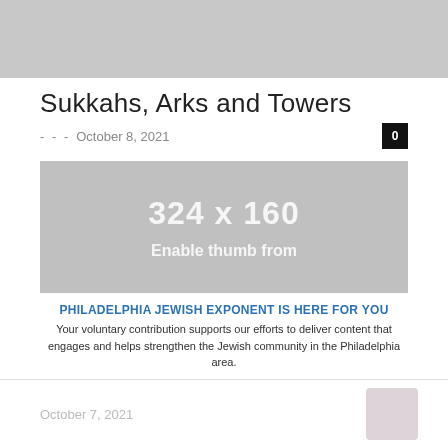[Figure (photo): Grey placeholder image at top of page]
Sukkahs, Arks and Towers
- - -  October 8, 2021
[Figure (photo): Grey placeholder image showing '324 x 160' and 'Enable thumb from']
PHILADELPHIA JEWISH EXPONENT IS HERE FOR YOU
Your voluntary contribution supports our efforts to deliver content that engages and helps strengthen the Jewish community in the Philadelphia area.
CONTRIBUTE
October 7, 2021